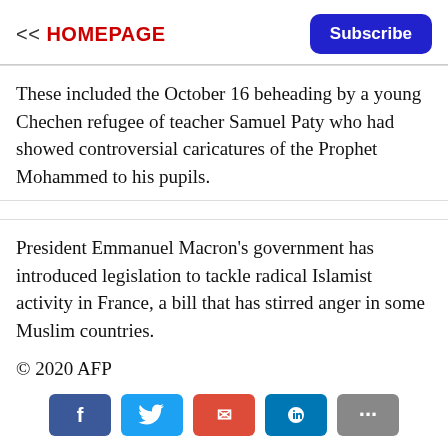<< HOMEPAGE | Subscribe
These included the October 16 beheading by a young Chechen refugee of teacher Samuel Paty who had showed controversial caricatures of the Prophet Mohammed to his pupils.
President Emmanuel Macron's government has introduced legislation to tackle radical Islamist activity in France, a bill that has stirred anger in some Muslim countries.
© 2020 AFP
[Figure (other): Social media share buttons: Facebook, Twitter, Google+, LinkedIn, More]